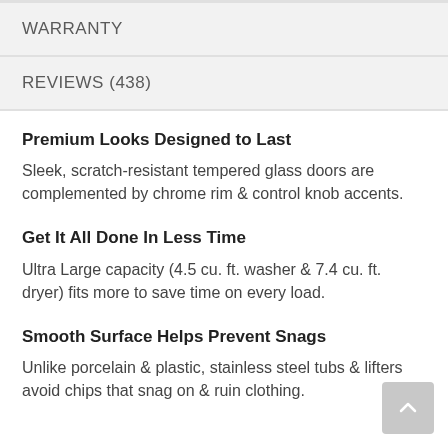WARRANTY
REVIEWS (438)
Premium Looks Designed to Last
Sleek, scratch-resistant tempered glass doors are complemented by chrome rim & control knob accents.
Get It All Done In Less Time
Ultra Large capacity (4.5 cu. ft. washer & 7.4 cu. ft. dryer) fits more to save time on every load.
Smooth Surface Helps Prevent Snags
Unlike porcelain & plastic, stainless steel tubs & lifters avoid chips that snag on & ruin clothing.